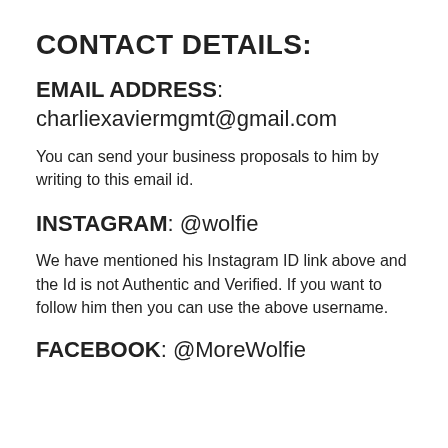CONTACT DETAILS:
EMAIL ADDRESS: charliexaviermgmt@gmail.com
You can send your business proposals to him by writing to this email id.
INSTAGRAM: @wolfie
We have mentioned his Instagram ID link above and the Id is not Authentic and Verified. If you want to follow him then you can use the above username.
FACEBOOK: @MoreWolfie